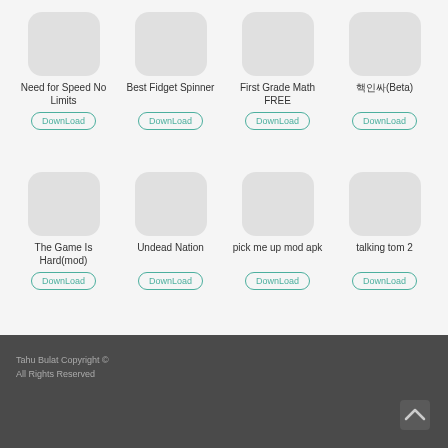[Figure (screenshot): App icon placeholder - Need for Speed No Limits]
Need for Speed No Limits
DownLoad
[Figure (screenshot): App icon placeholder - Best Fidget Spinner]
Best Fidget Spinner
DownLoad
[Figure (screenshot): App icon placeholder - First Grade Math FREE]
First Grade Math FREE
DownLoad
[Figure (screenshot): App icon placeholder - 핵인싸(Beta)]
핵인싸(Beta)
DownLoad
[Figure (screenshot): App icon placeholder - The Game Is Hard(mod)]
The Game Is Hard(mod)
DownLoad
[Figure (screenshot): App icon placeholder - Undead Nation]
Undead Nation
DownLoad
[Figure (screenshot): App icon placeholder - pick me up mod apk]
pick me up mod apk
DownLoad
[Figure (screenshot): App icon placeholder - talking tom 2]
talking tom 2
DownLoad
Tahu Bulat Copyright ©
All Rights Reserved